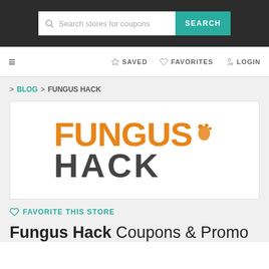Search stores for coupons | SEARCH
≡ SAVED FAVORITES LOGIN
> BLOG > FUNGUS HACK
[Figure (logo): Fungus Hack logo: 'FUNGUS' in orange bold text with a small orange foot icon, 'HACK' in dark gray bold text below]
♡ FAVORITE THIS STORE
Fungus Hack Coupons & Promo